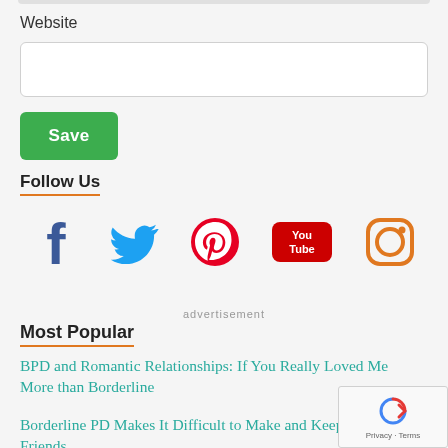Website
[Figure (screenshot): Text input field for website URL]
[Figure (screenshot): Green Save button]
Follow Us
[Figure (illustration): Social media icons: Facebook (dark blue), Twitter (light blue), Pinterest (red), YouTube (red/white), Instagram (orange outline)]
advertisement
Most Popular
BPD and Romantic Relationships: If You Really Loved Me More than Borderline
Borderline PD Makes It Difficult to Make and Keep Friends